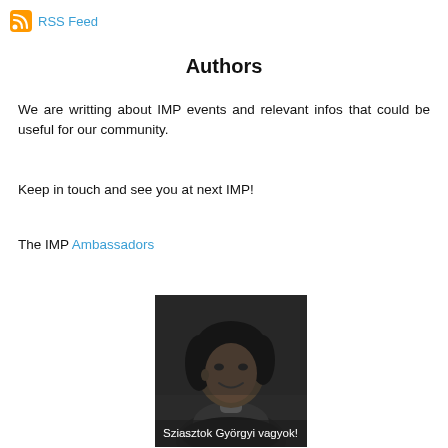RSS Feed
Authors
We are writting about IMP events and relevant infos that could be useful for our community.
Keep in touch and see you at next IMP!
The IMP Ambassadors
[Figure (photo): Black and white portrait photo of a smiling woman with dark hair, with caption overlay 'Sziasztok Györgyi vagyok!']